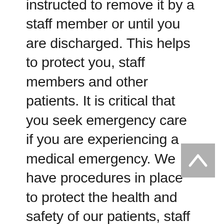instructed to remove it by a staff member or until you are discharged. This helps to protect you, staff members and other patients. It is critical that you seek emergency care if you are experiencing a medical emergency. We have procedures in place to protect the health and safety of our patients, staff members and visitors. Our standard infection prevention protocols help in preventing the spread of infectious diseases, including COVID-19, year-round. It is safe to come to the hospital,